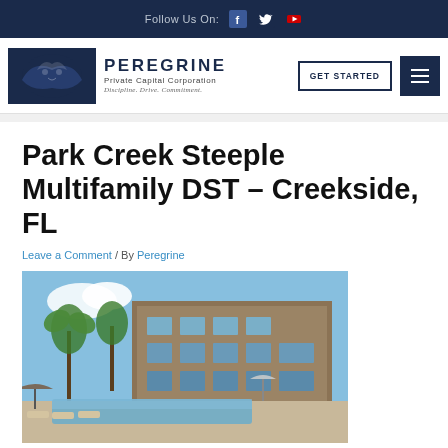Follow Us On:  [Facebook] [Twitter] [YouTube]
[Figure (logo): Peregrine Private Capital Corporation logo with eagle graphic. Text: PEREGRINE Private Capital Corporation. Discipline. Drive. Commitment.]
Park Creek Steeple Multifamily DST – Creekside, FL
Leave a Comment / By Peregrine
[Figure (photo): Outdoor pool area of a multifamily apartment complex with lounge chairs, poolside cabana, palm trees, and a multi-story residential building in the background under blue sky.]